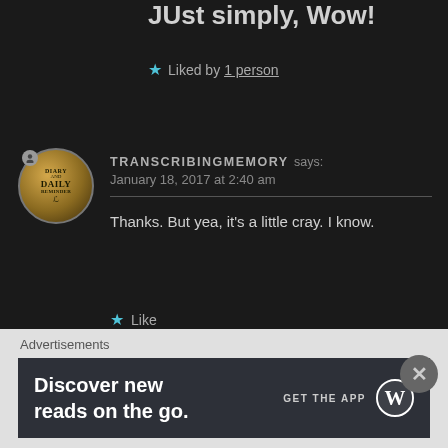JUst simply, Wow!
★ Liked by 1 person
TRANSCRIBINGMEMORY says:
January 18, 2017 at 2:40 am
Thanks. But yea, it's a little cray. I know.
★ Like
Advertisements
Discover new reads on the go.
GET THE APP